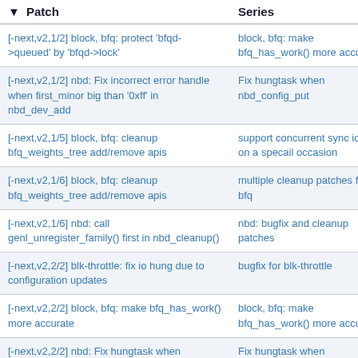| Patch | Series |
| --- | --- |
| [-next,v2,1/2] block, bfq: protect 'bfqd->queued' by 'bfqd->lock' | block, bfq: make bfq_has_work() more accurate |
| [-next,v2,1/2] nbd: Fix incorrect error handle when first_minor big than '0xff' in nbd_dev_add | Fix hungtask when nbd_config_put |
| [-next,v2,1/5] block, bfq: cleanup bfq_weights_tree add/remove apis | support concurrent sync io bfq on a specail occasion |
| [-next,v2,1/6] block, bfq: cleanup bfq_weights_tree add/remove apis | multiple cleanup patches for bfq |
| [-next,v2,1/6] nbd: call genl_unregister_family() first in nbd_cleanup() | nbd: bugfix and cleanup patches |
| [-next,v2,2/2] blk-throttle: fix io hung due to configuration updates | bugfix for blk-throttle |
| [-next,v2,2/2] block, bfq: make bfq_has_work() more accurate | block, bfq: make bfq_has_work() more accurate |
| [-next,v2,2/2] nbd: Fix hungtask when nbd_config_put | Fix hungtask when nbd_config_put |